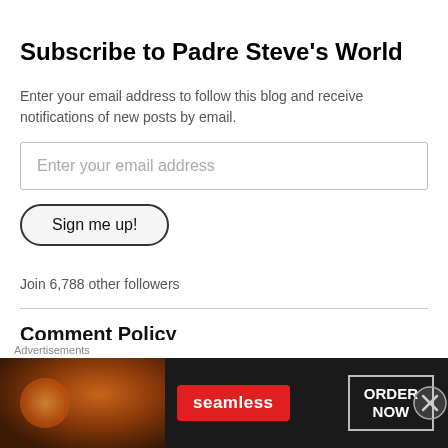Subscribe to Padre Steve's World
Enter your email address to follow this blog and receive notifications of new posts by email.
Enter your email address
Sign me up!
Join 6,788 other followers
Comment Policy
Friends of Padre Steve's World I welcome comments, even those which disagree with my positions and articles. I have done this for years, but recently I have been worn out by some people. I have just a couple of
Advertisements
[Figure (screenshot): Seamless food delivery advertisement banner showing pizza image on left, Seamless red logo in center, and ORDER NOW button in white bordered box on right, all on dark background]